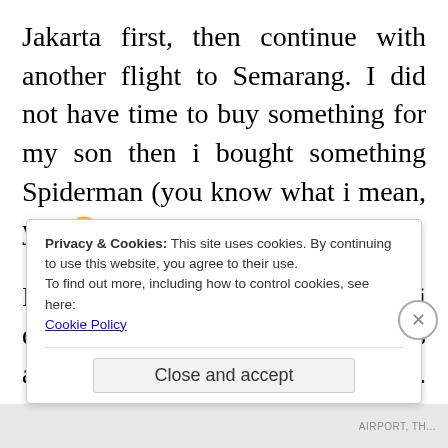Jakarta first, then continue with another flight to Semarang. I did not have time to buy something for my son then i bought something Spiderman (you know what i mean, ya? 🙂 ) at Changi Airport.
It's was a nice trip after all. And i do know why i just feel that there is an unfinished thing with Singapore. Is it because my novel ...
Privacy & Cookies: This site uses cookies. By continuing to use this website, you agree to their use.
To find out more, including how to control cookies, see here:
Cookie Policy
Close and accept